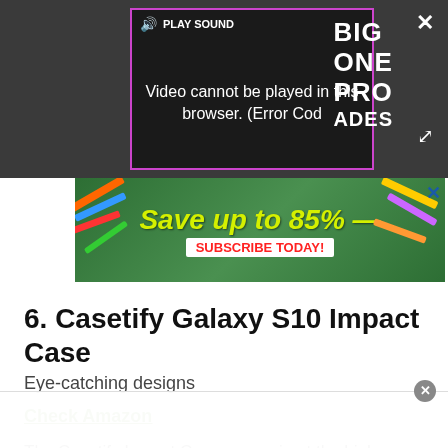[Figure (screenshot): Video player with error message 'Video cannot be played in this browser. (Error Cod' on dark background, with PLAY SOUND button, close X, and expand icon. Part of a webpage with pink-bordered video player on dark gray background.]
[Figure (screenshot): Advertisement banner with green background showing 'Save up to 85%' in yellow italic text and 'SUBSCRIBE TODAY!' in red text on white button, with school supplies (pencils, rulers) on sides.]
6. Casetify Galaxy S10 Impact Case
Eye-catching designs
Check Amazon
The Casetify Impact Case comes in at the higher-